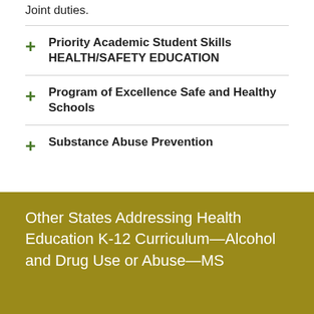Joint duties.
Priority Academic Student Skills HEALTH/SAFETY EDUCATION
Program of Excellence Safe and Healthy Schools
Substance Abuse Prevention
Other States Addressing Health Education K-12 Curriculum—Alcohol and Drug Use or Abuse—MS